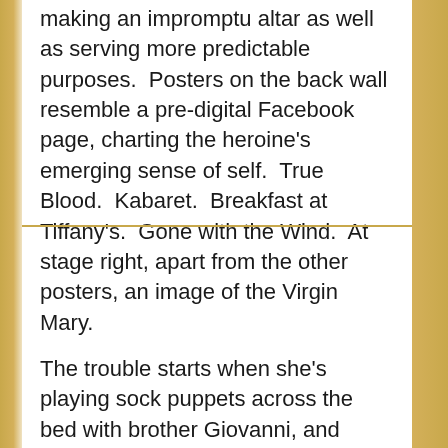making an impromptu altar as well as serving more predictable purposes.  Posters on the back wall resemble a pre-digital Facebook page, charting the heroine's emerging sense of self.  True Blood.  Kabaret.  Breakfast at Tiffany's.  Gone with the Wind.  At stage right, apart from the other posters, an image of the Virgin Mary.
The trouble starts when she's playing sock puppets across the bed with brother Giovanni, and things devolve quickly.  As they consummate their mutual love under the red comforter, a group of men, waiting on stage during most of the play, gather round to negotiate the bride's price.  Soranzo, a nobleman who sloughs off the widow Hippolyta in the sub-plot, wins her hand — but